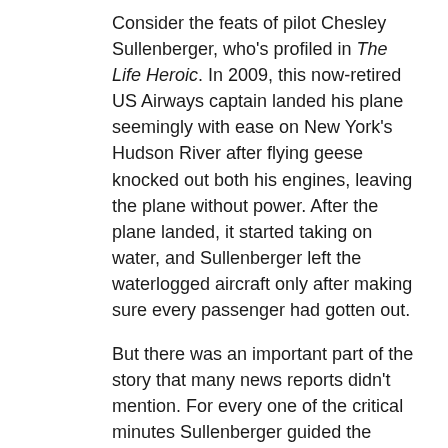Consider the feats of pilot Chesley Sullenberger, who's profiled in The Life Heroic. In 2009, this now-retired US Airways captain landed his plane seemingly with ease on New York's Hudson River after flying geese knocked out both his engines, leaving the plane without power. After the plane landed, it started taking on water, and Sullenberger left the waterlogged aircraft only after making sure every passenger had gotten out.
But there was an important part of the story that many news reports didn't mention. For every one of the critical minutes Sullenberger guided the plane to a safe landing, he'd logged countless hours of practice. A pilot for more than four decades, Sullenberger had flown planes in all kinds of conditions. He also had special training in how to fly gliders, which are essentially planes without engines. In short, everything he'd experienced in his career—every problem he'd solved on the fly—prepared him to land a damaged plane on the spur of the moment.
Were Sullenberger's heroic actions truly effortless? Far from it. But they were well within reach, given the kind of training he'd had. The preparation phase of a heroic